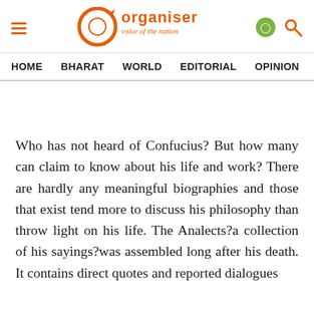Organiser — voice of the nation
HOME   BHARAT   WORLD   EDITORIAL   OPINION   ANA
Who has not heard of Confucius? But how many can claim to know about his life and work? There are hardly any meaningful biographies and those that exist tend more to discuss his philosophy than throw light on his life. The Analects?a collection of his sayings?was assembled long after his death. It contains direct quotes and reported dialogues